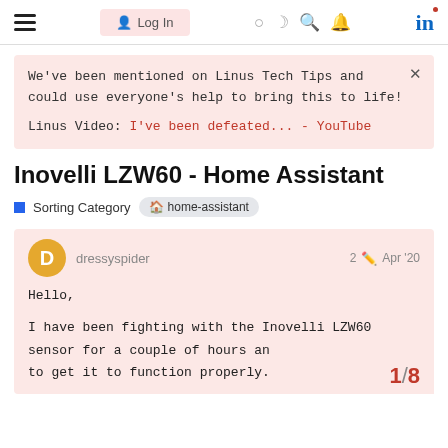Navigation bar with hamburger menu, Log In button, icons, and LinkedIn logo
We've been mentioned on Linus Tech Tips and could use everyone's help to bring this to life!

Linus Video: I've been defeated... - YouTube
Inovelli LZW60 - Home Assistant
Sorting Category   home-assistant
dressyspider   2   Apr '20
Hello,

I have been fighting with the Inovelli LZW60 sensor for a couple of hours an to get it to function properly.
1 / 8